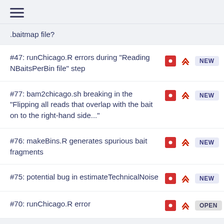≡
.baitmap file?
#47: runChicago.R errors during "Reading NBaitsPerBin file" step — NEW — 1
#77: bam2chicago.sh breaking in the "Flipping all reads that overlap with the bait on to the right-hand side..." — NEW
#76: makeBins.R generates spurious bait fragments — NEW
#75: potential bug in estimateTechnicalNoise — NEW
#70: runChicago.R error — OPEN